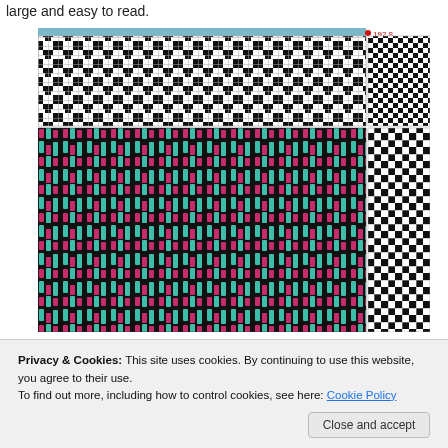large and easy to read.
[Figure (illustration): Weaving or knitting pattern diagram showing two sections: top section with black and white geometric pattern resembling an X/diamond repeat on a grid, and bottom section with a colorful pattern of teal/cyan and magenta/pink vertical dashes on black background, with small thumbnail previews on the right side. A label '192.8' appears at top right.]
Privacy & Cookies: This site uses cookies. By continuing to use this website, you agree to their use.
To find out more, including how to control cookies, see here: Cookie Policy
Close and accept